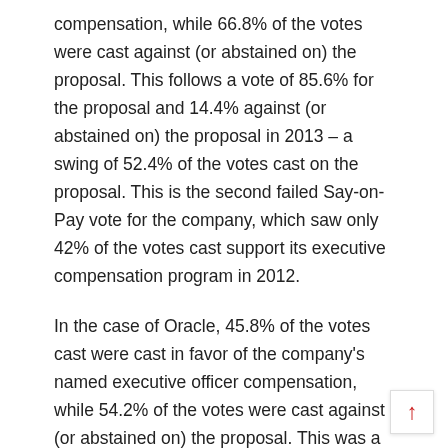compensation, while 66.8% of the votes were cast against (or abstained on) the proposal. This follows a vote of 85.6% for the proposal and 14.4% against (or abstained on) the proposal in 2013 – a swing of 52.4% of the votes cast on the proposal. This is the second failed Say-on-Pay vote for the company, which saw only 42% of the votes cast support its executive compensation program in 2012.
In the case of Oracle, 45.8% of the votes cast were cast in favor of the company's named executive officer compensation, while 54.2% of the votes were cast against (or abstained on) the proposal. This was a slight increase in support from 2013, when just over 43% of the votes cast were voted in favor of the executive compensation program, but still less than majority